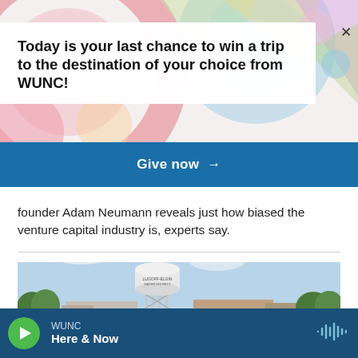[Figure (screenshot): Colorful abstract geometric circles in pastel colors forming the background of a promotional banner]
Today is your last chance to win a trip to the destination of your choice from WUNC!
Give now →
founder Adam Neumann reveals just how biased the venture capital industry is, experts say.
[Figure (photo): A white water tower labeled 'Lugoff-Elgin Water District' stands above a small town street scene with brick buildings and trees under a blue sky]
WUNC
Here & Now